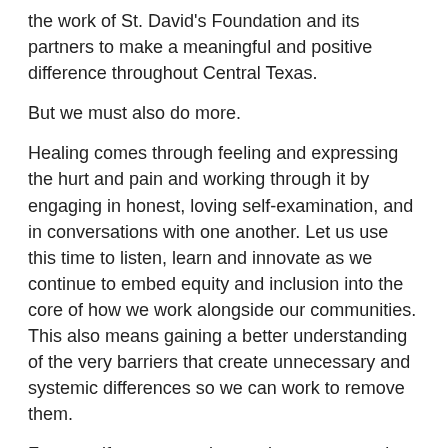the work of St. David's Foundation and its partners to make a meaningful and positive difference throughout Central Texas.
But we must also do more.
Healing comes through feeling and expressing the hurt and pain and working through it by engaging in honest, loving self-examination, and in conversations with one another. Let us use this time to listen, learn and innovate as we continue to embed equity and inclusion into the core of how we work alongside our communities. This also means gaining a better understanding of the very barriers that create unnecessary and systemic differences so we can work to remove them.
For now, if we recommit ourselves to supporting all those around us—especially those with the greatest need and those victims of the greatest injustice—and inspiring one another to become